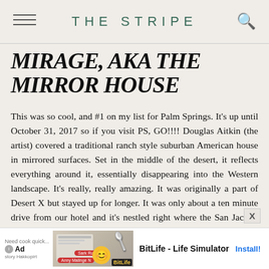THE STRIPE
MIRAGE, AKA THE MIRROR HOUSE
This was so cool, and #1 on my list for Palm Springs. It's up until October 31, 2017 so if you visit PS, GO!!!! Douglas Aitkin (the artist) covered a traditional ranch style suburban American house in mirrored surfaces. Set in the middle of the desert, it reflects everything around it, essentially disappearing into the Western landscape. It's really, really amazing. It was originally a part of Desert X but stayed up for longer. It was only about a ten minute drive from our hotel and it's nestled right where the San Jacinto Mountains meet the Coachella valley. An absolute MUST! There is no
[Figure (other): Advertisement banner: BitLife - Life Simulator app ad with Install button]